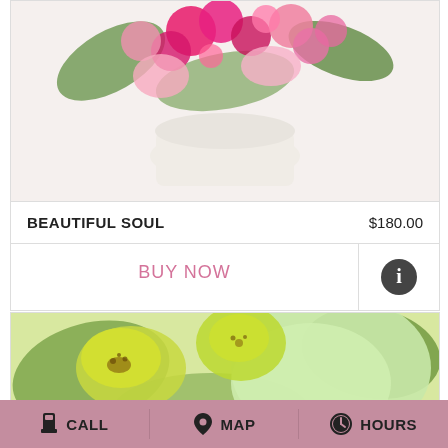[Figure (photo): Pink and magenta flower arrangement in a white container, partially cropped at top]
BEAUTIFUL SOUL
$180.00
BUY NOW
[Figure (photo): Yellow-green alstroemeria and light green flowers close-up, partially showing a florist branding at bottom]
CALL   MAP   HOURS